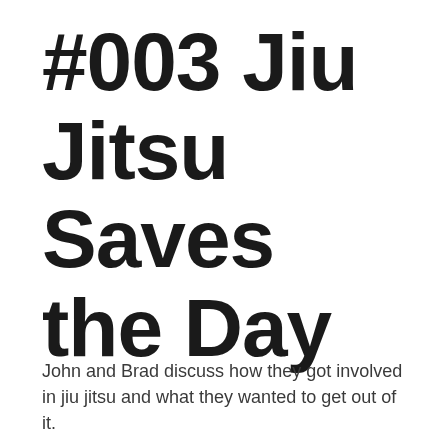#003 Jiu Jitsu Saves the Day
John and Brad discuss how they got involved in jiu jitsu and what they wanted to get out of it.